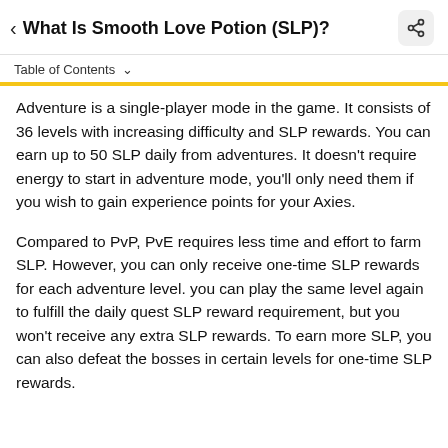What Is Smooth Love Potion (SLP)?
Table of Contents
Adventure is a single-player mode in the game. It consists of 36 levels with increasing difficulty and SLP rewards. You can earn up to 50 SLP daily from adventures. It doesn't require energy to start in adventure mode, you'll only need them if you wish to gain experience points for your Axies.
Compared to PvP, PvE requires less time and effort to farm SLP. However, you can only receive one-time SLP rewards for each adventure level. you can play the same level again to fulfill the daily quest SLP reward requirement, but you won't receive any extra SLP rewards. To earn more SLP, you can also defeat the bosses in certain levels for one-time SLP rewards.